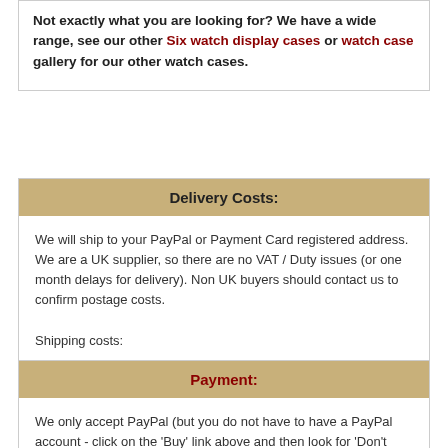Not exactly what you are looking for? We have a wide range, see our other Six watch display cases or watch case gallery for our other watch cases.
Delivery Costs:
We will ship to your PayPal or Payment Card registered address. We are a UK supplier, so there are no VAT / Duty issues (or one month delays for delivery). Non UK buyers should contact us to confirm postage costs.

Shipping costs:

United Kingdom: First Class Delivery: £5.95

The postage included as standard is for UK only. if you buy and specify a non UK address you will be refunded and your purchase cancelled.
Payment:
We only accept PayPal (but you do not have to have a PayPal account - click on the 'Buy' link above and then look for 'Don't have a PayPal account' section on the left) You can pay by most credit / debit cards using this method. We will also accept a bank transfer (contact us for our bank details) details will be given on the ...